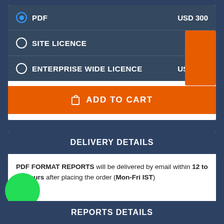PDF — USD 300
SITE LICENCE — USD [obscured]
ENTERPRISE WIDE LICENCE — USD 900
ADD TO CART
DELIVERY DETAILS
PDF FORMAT REPORTS will be delivered by email within 12 to 24 hours after placing the order (Mon-Fri IST)
REPORTS DETAILS